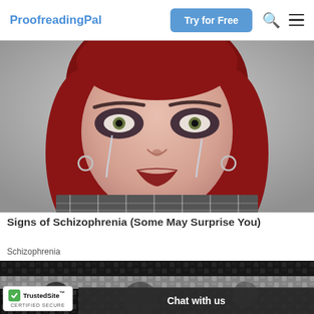ProofreadingPal | Try for Free
[Figure (photo): Young woman with red hair and dark eye makeup, tears on face, wearing hoop earrings and a plaid top, against a grey background]
Signs of Schizophrenia (Some May Surprise You)
Schizophrenia
[Figure (photo): Close-up of a black and white patterned fabric or chain accessory]
Chat with us